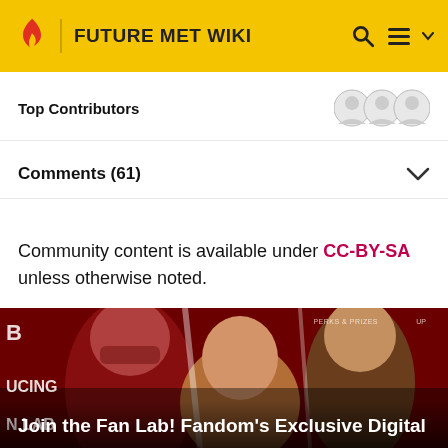FUTURE MET WIKI
Top Contributors
Comments (61)
Community content is available under CC-BY-SA unless otherwise noted.
[Figure (photo): Promotional banner image showing comic book/superhero characters on a dark red background with text 'Join the Fan Lab! Fandom's Exclusive Digital']